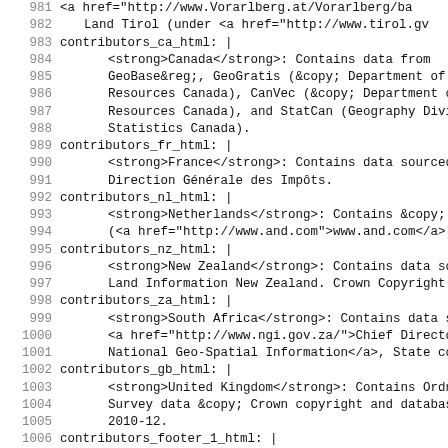Code listing lines 981-1012 showing YAML/HTML configuration for map contributors including Canada, France, Netherlands, New Zealand, South Africa, United Kingdom, and footer sections for OpenStreetMap wiki.